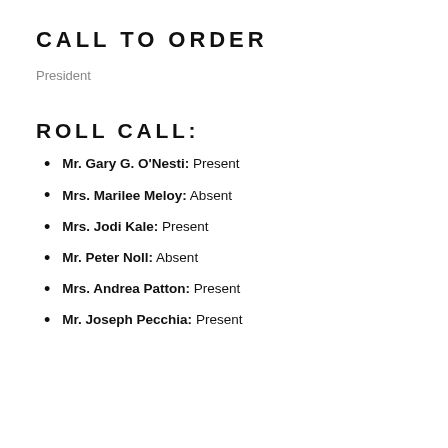CALL TO ORDER
President
ROLL CALL:
Mr. Gary G. O'Nesti: Present
Mrs. Marilee Meloy: Absent
Mrs. Jodi Kale: Present
Mr. Peter Noll: Absent
Mrs. Andrea Patton: Present
Mr. Joseph Pecchia: Present